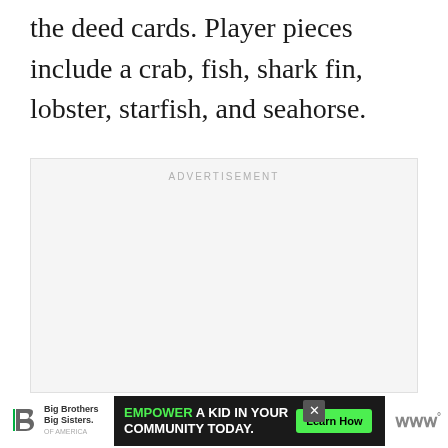the deed cards. Player pieces include a crab, fish, shark fin, lobster, starfish, and seahorse.
[Figure (other): Advertisement placeholder box with the label ADVERTISEMENT in light gray text]
[Figure (other): Bottom advertisement banner: Big Brothers Big Sisters logo on left, dark banner reading EMPOWER A KID IN YOUR COMMUNITY TODAY. with green Learn How button and close X button, WW logo on right]